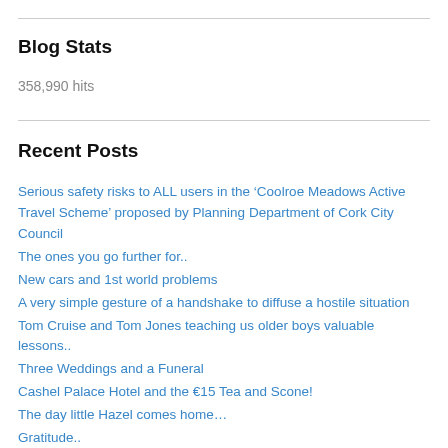Blog Stats
358,990 hits
Recent Posts
Serious safety risks to ALL users in the ‘Coolroe Meadows Active Travel Scheme’ proposed by Planning Department of Cork City Council
The ones you go further for..
New cars and 1st world problems
A very simple gesture of a handshake to diffuse a hostile situation
Tom Cruise and Tom Jones teaching us older boys valuable lessons..
Three Weddings and a Funeral
Cashel Palace Hotel and the €15 Tea and Scone!
The day little Hazel comes home…
Gratitude..
The voices of some special women
The great unmasked..